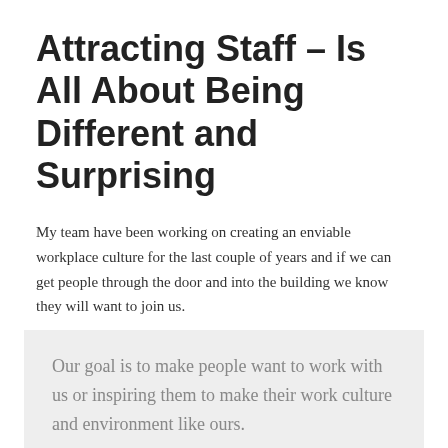Attracting Staff – Is All About Being Different and Surprising
My team have been working on creating an enviable workplace culture for the last couple of years and if we can get people through the door and into the building we know they will want to join us.
Our goal is to make people want to work with us or inspiring them to make their work culture and environment like ours.